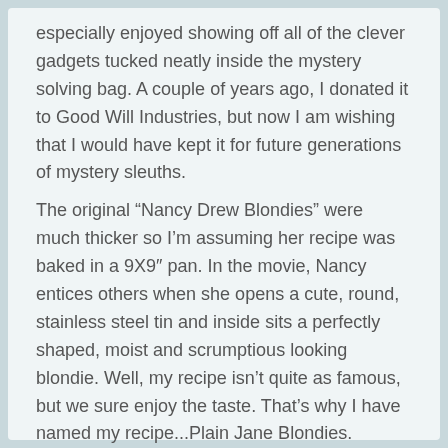especially enjoyed showing off all of the clever gadgets tucked neatly inside the mystery solving bag. A couple of years ago, I donated it to Good Will Industries, but now I am wishing that I would have kept it for future generations of mystery sleuths.
The original “Nancy Drew Blondies” were much thicker so I’m assuming her recipe was baked in a 9X9″ pan. In the movie, Nancy entices others when she opens a cute, round, stainless steel tin and inside sits a perfectly shaped, moist and scrumptious looking blondie. Well, my recipe isn’t quite as famous, but we sure enjoy the taste. That’s why I have named my recipe...Plain Jane Blondies.